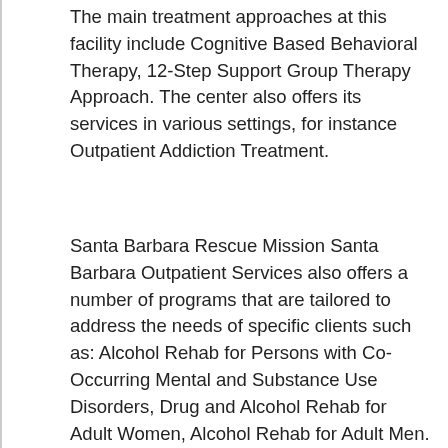The main treatment approaches at this facility include Cognitive Based Behavioral Therapy, 12-Step Support Group Therapy Approach. The center also offers its services in various settings, for instance Outpatient Addiction Treatment.
Santa Barbara Rescue Mission Santa Barbara Outpatient Services also offers a number of programs that are tailored to address the needs of specific clients such as: Alcohol Rehab for Persons with Co-Occurring Mental and Substance Use Disorders, Drug and Alcohol Rehab for Adult Women, Alcohol Rehab for Adult Men. Finally, Santa Barbara Rescue Mission Santa Barbara Outpatient Services accepts various forms of payment,